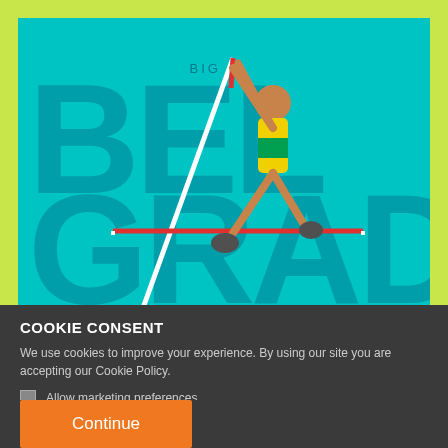[Figure (photo): Cyan/teal background with large decorative text 'BIG IN BELGRADE' and a pole vaulter athlete in yellow/green uniform clearing a bar with a long pole]
COOKIE CONSENT
We use cookies to improve your experience. By using our site you are accepting our Cookie Policy.
Allow marketing preferences
Continue